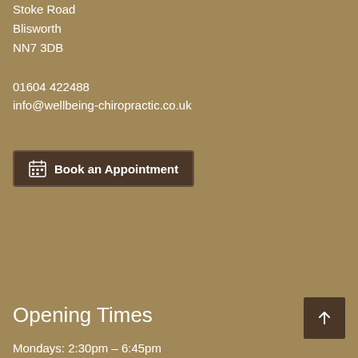Stoke Road
Blisworth
NN7 3DB
01604 422488
info@wellbeing-chiropractic.co.uk
Book an Appointment
Opening Times
Mondays: 2:30pm – 6:45pm